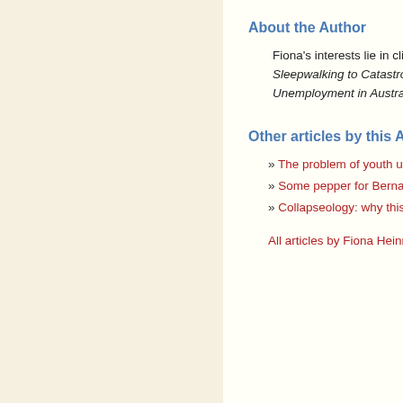About the Author
Fiona's interests lie in climate change, peak oil and... Sleepwalking to Catastrophe. Tackling the vexed i... Unemployment in Australia. Both are available onl...
Other articles by this Author
» The problem of youth unemployment - April 5, 2012
» Some pepper for Bernard Salt: A Generation Y respon...
» Collapseology: why this should be shaping Australian p...
All articles by Fiona Heinrichs
This work is licensed unde...
About Us    Search    Di...